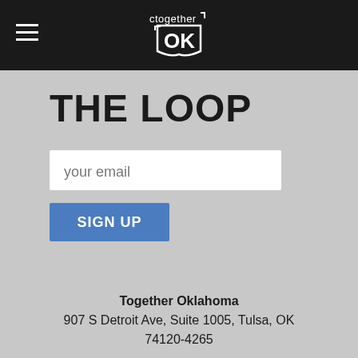Together OK (logo) — navigation header
THE LOOP
your email
SIGN UP
Together Oklahoma
907 S Detroit Ave, Suite 1005, Tulsa, OK 74120-4265